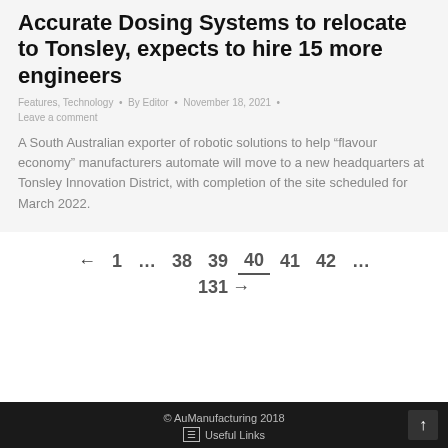Accurate Dosing Systems to relocate to Tonsley, expects to hire 15 more engineers
Features, Technology • By Editor • November 18, 2021 •
Leave a comment
A South Australian exporter of robotic solutions to help “flavour economy” manufacturers automate will move to a new headquarters at Tonsley Innovation District, with completion of the site scheduled for March 2022.
← 1 ... 38 39 40 41 42 ... 131 →
© AuManufacturing 2018 | Useful Links